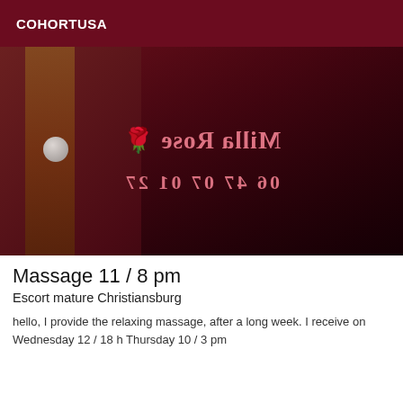COHORTUSA
[Figure (photo): A person with long dark hair in a dark room with a staircase, overlaid with mirrored pink text reading 'Milla Rose' and a phone number, watermarked on the photo.]
Massage 11 / 8 pm
Escort mature Christiansburg
hello, I provide the relaxing massage, after a long week. I receive on Wednesday 12 / 18 h Thursday 10 / 3 pm